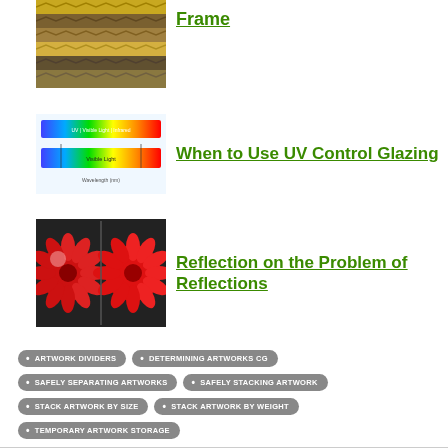[Figure (photo): Thumbnail of decorative picture frames in various gold and dark styles]
Frame
[Figure (photo): Thumbnail showing UV light spectrum chart with color band from blue to red]
When to Use UV Control Glazing
[Figure (photo): Two side-by-side images of a red flower, one with reflection and one without]
Reflection on the Problem of Reflections
ARTWORK DIVIDERS
DETERMINING ARTWORKS CG
SAFELY SEPARATING ARTWORKS
SAFELY STACKING ARTWORK
STACK ARTWORK BY SIZE
STACK ARTWORK BY WEIGHT
TEMPORARY ARTWORK STORAGE